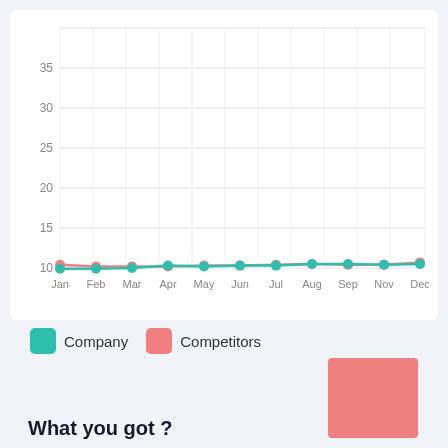[Figure (line-chart): ]
Company   Competitors
What you got ?